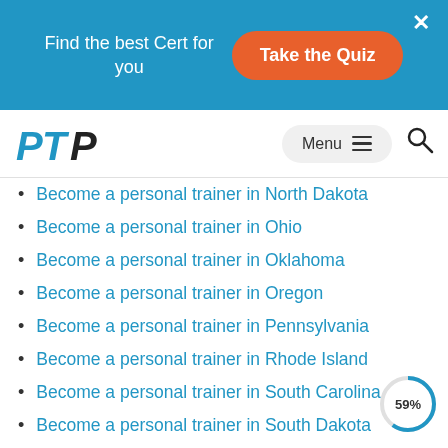Find the best Cert for you | Take the Quiz
PTP Menu
Become a personal trainer in North Dakota
Become a personal trainer in Ohio
Become a personal trainer in Oklahoma
Become a personal trainer in Oregon
Become a personal trainer in Pennsylvania
Become a personal trainer in Rhode Island
Become a personal trainer in South Carolina
Become a personal trainer in South Dakota
Become a personal trainer in Tennessee
Become a personal trainer in Texas
[Figure (other): Circular progress indicator showing 59%]
[Figure (other): Back to top button (blue square with up arrow)]